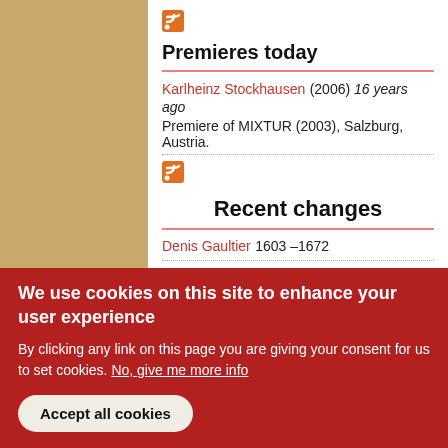Premieres today
Karlheinz Stockhausen (2006) 16 years ago
Premiere of MIXTUR (2003), Salzburg, Austria.
Recent changes
Denis Gaultier 1603 –1672
Diego de Pontac 1603 –1654
Gustaf Duben 1624 –1690
Francesco Sabino 1628 –1660
Jean Audiffren 1680 –1762
We use cookies on this site to enhance your user experience
By clicking any link on this page you are giving your consent for us to set cookies. No, give me more info
Accept all cookies